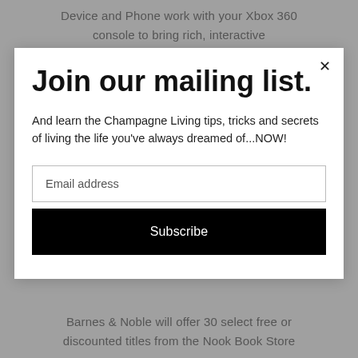Device and Phone work with your Xbox 360 console to bring rich, interactive
Join our mailing list.
And learn the Champagne Living tips, tricks and secrets of living the life you've always dreamed of...NOW!
Email address
Subscribe
Barnes & Noble will offer 30 select free or discounted titles from the Nook Book Store